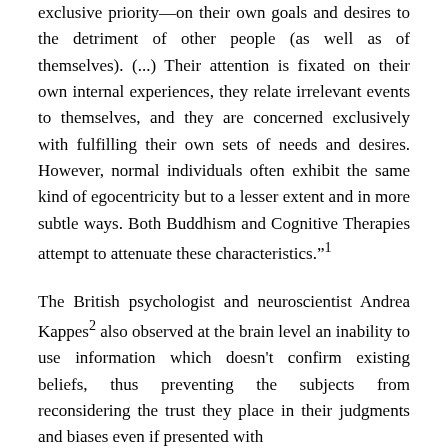exclusive priority—on their own goals and desires to the detriment of other people (as well as of themselves). (...) Their attention is fixated on their own internal experiences, they relate irrelevant events to themselves, and they are concerned exclusively with fulfilling their own sets of needs and desires. However, normal individuals often exhibit the same kind of egocentricity but to a lesser extent and in more subtle ways. Both Buddhism and Cognitive Therapies attempt to attenuate these characteristics."1
The British psychologist and neuroscientist Andrea Kappes2 also observed at the brain level an inability to use information which doesn't confirm existing beliefs, thus preventing the subjects from reconsidering the trust they place in their judgments and biases even if presented with